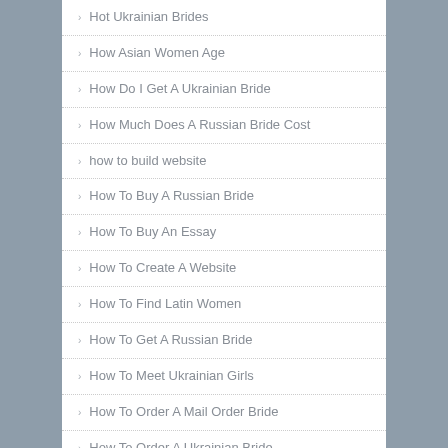Hot Ukrainian Brides
How Asian Women Age
How Do I Get A Ukrainian Bride
How Much Does A Russian Bride Cost
how to build website
How To Buy A Russian Bride
How To Buy An Essay
How To Create A Website
How To Find Latin Women
How To Get A Russian Bride
How To Meet Ukrainian Girls
How To Order A Mail Order Bride
How To Order A Ukrainian Bride
How To Title An Essay
How To Write A College Lab Report
How To Write A Good Paragraph